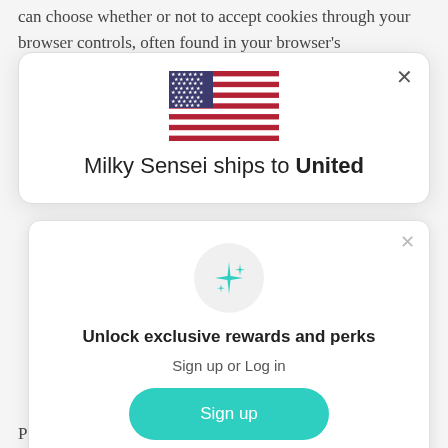can choose whether or not to accept cookies through your browser controls, often found in your browser's
[Figure (screenshot): Modal dialog showing US flag and text 'Milky Sensei ships to United' with a close (X) button]
[Figure (screenshot): Modal dialog to unlock exclusive rewards and perks with sparkle icon, Sign up button, and Sign in link]
Please note that because there is no consistent industry